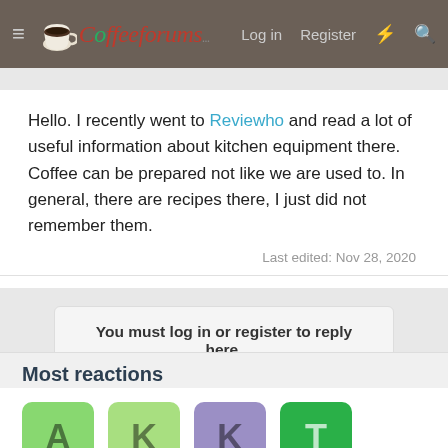CoffeeForums — Log in  Register
Hello. I recently went to Reviewho and read a lot of useful information about kitchen equipment there. Coffee can be prepared not like we are used to. In general, there are recipes there, I just did not remember them.
Last edited: Nov 28, 2020
You must log in or register to reply here.
Most reactions
[Figure (other): Four user avatar tiles with letters A, K, K, T and reaction counts 2, 1, 1, 1]